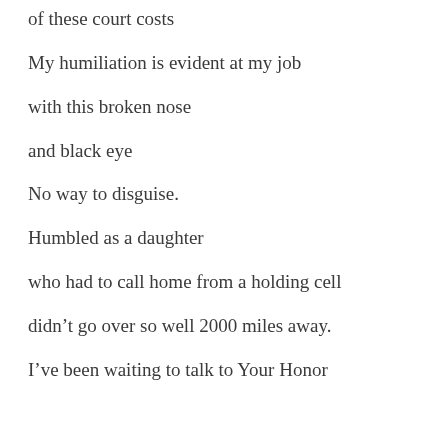of these court costs
My humiliation is evident at my job
with this broken nose
and black eye
No way to disguise.
Humbled as a daughter
who had to call home from a holding cell
didn’t go over so well 2000 miles away.
I’ve been waiting to talk to Your Honor